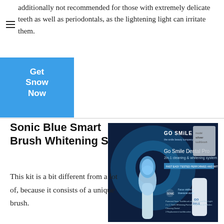additionally not recommended for those with extremely delicate teeth as well as periodontals, as the lightening light can irritate them.
[Figure (other): Blue square button with white bold text reading 'Get Snow Now']
Sonic Blue Smart Brush Whitening Set
[Figure (photo): Product photo of Go Smile Dental Pro 2-in-1 cleaning & whitening system on dark blue background, featuring a sonic toothbrush and whitening products]
This kit is a bit different from a lot of, because it consists of a unique brush. This brush is improved with the outstanding blue-light modern technology that is taking dentistry by tornado. Today, it is the only tooth brush readily available on the